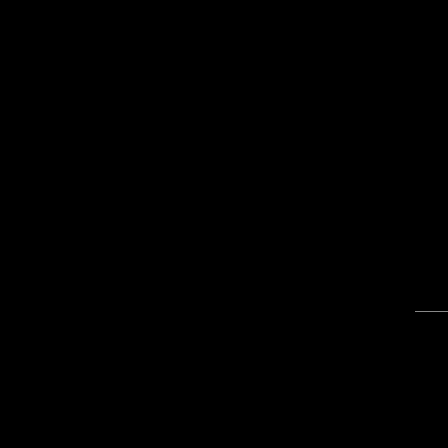You trust me to
Take a
It's you
Yeah
Oh, put the
You ought to
Somewh
I threw
Now it's
I said fro
I am the wo
For you t
NEW
(M. Jagger
There's a ne
He's been dr
He's the fig
And his ey
And they're
S ll